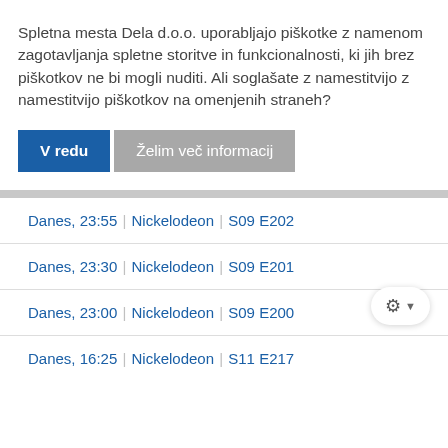Spletna mesta Dela d.o.o. uporabljajo piškotke z namenom zagotavljanja spletne storitve in funkcionalnosti, ki jih brez piškotkov ne bi mogli nuditi. Ali soglašate z namestitvijo z namestitvijo piškotkov na omenjenih straneh?
V redu
Želim več informacij
| Danes, 23:55 | Nickelodeon | S09 E202 |
| Danes, 23:30 | Nickelodeon | S09 E201 |
| Danes, 23:00 | Nickelodeon | S09 E200 |
| Danes, 16:25 | Nickelodeon | S11 E217 |